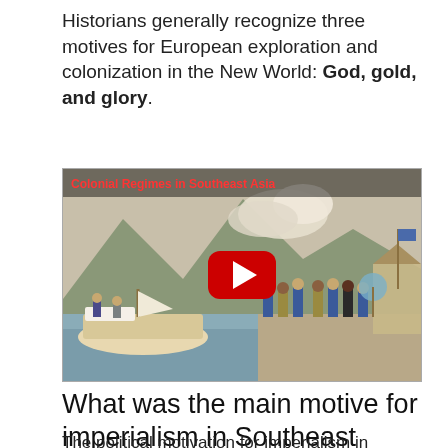Historians generally recognize three motives for European exploration and colonization in the New World: God, gold, and glory.
[Figure (screenshot): YouTube video thumbnail titled 'Colonial Regimes in Southeast Asia' showing a historical illustration of European colonial figures and sailors on a shore with boats, mountains, and buildings in background. A red YouTube play button is centered on the image.]
What was the main motive for imperialism in Southeast Asia?
The political motivation for imperialism in...